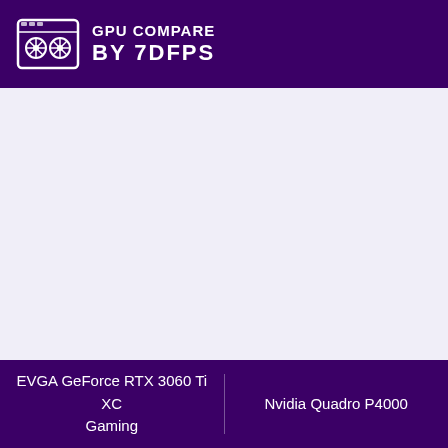GPU COMPARE BY 7DFPS
EVGA GeForce RTX 3060 Ti XC Gaming | Nvidia Quadro P4000